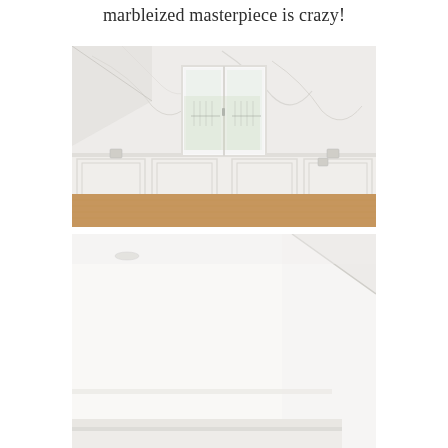marbleized masterpiece is crazy!
[Figure (photo): Interior room with white marbleized walls, white wainscoting panels, French doors opening to a balcony with greenery outside, and warm light wood flooring. The upper walls feature a marble-painted finish with gray veining.]
[Figure (photo): Close-up of white interior surfaces — appears to show white walls/ceiling with baseboard or trim detail, very bright and minimal.]